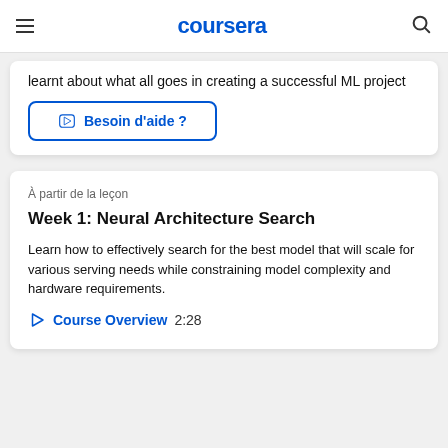coursera
learnt about what all goes in creating a successful ML project
Besoin d'aide ?
À partir de la leçon
Week 1: Neural Architecture Search
Learn how to effectively search for the best model that will scale for various serving needs while constraining model complexity and hardware requirements.
Course Overview  2:28